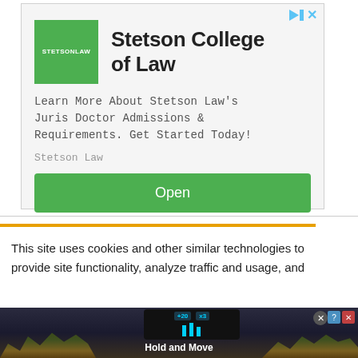[Figure (screenshot): Advertisement for Stetson College of Law. Shows green STETSONLAW logo square, bold title 'Stetson College of Law', descriptive text about Juris Doctor admissions, 'Stetson Law' source label, and a green 'Open' button. Has play and X icons in top right corner.]
This site uses cookies and other similar technologies to provide site functionality, analyze traffic and usage, and
[Figure (screenshot): Bottom advertisement showing a dark mobile game screenshot with 'Hold and Move' text, cyan icons, score badges (+20, x3), trees in background, close button and X button in top right.]